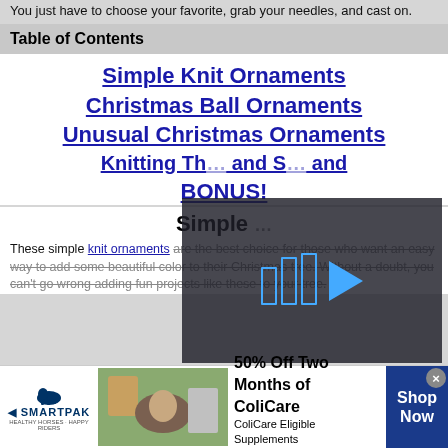You just have to choose your favorite, grab your needles, and cast on.
Table of Contents
Simple Knit Ornaments
Christmas Ball Ornaments
Unusual Christmas Ornaments
Knitting Th... and S... and
BONUS!
Simple ...
These simple knit ornaments are the best choice for those who want an easy way to add some beautiful color to their Christmas tree. Without a doubt, you can't go wrong adding fun projects like these to your tree.
[Figure (screenshot): Video overlay with play button (bars and triangle icon) and mute button on a darkened background]
[Figure (infographic): SmartPak advertisement banner: 50% Off Two Months of ColiCare, ColiCare Eligible Supplements, CODE: COLICARE10, with Shop Now button]